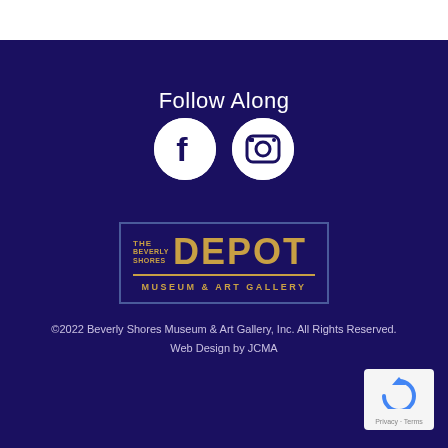Follow Along
[Figure (logo): Facebook and Instagram social media icons as white circles with dark logos]
[Figure (logo): The Beverly Shores Depot Museum & Art Gallery logo — bordered rectangle with gold text on dark blue background]
©2022 Beverly Shores Museum & Art Gallery, Inc. All Rights Reserved.
Web Design by JCMA
[Figure (logo): reCAPTCHA badge with Privacy - Terms links]